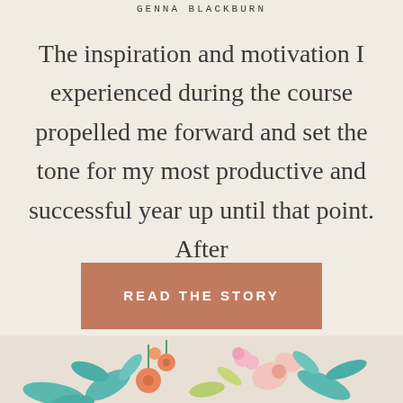GENNA BLACKBURN
The inspiration and motivation I experienced during the course propelled me forward and set the tone for my most productive and successful year up until that point. After
[Figure (other): Terracotta/rust colored rectangular button with white uppercase text reading READ THE STORY]
[Figure (illustration): Partial view of colorful floral illustration with teal, coral, orange, and pink botanical elements on a light background, cropped at bottom of page]